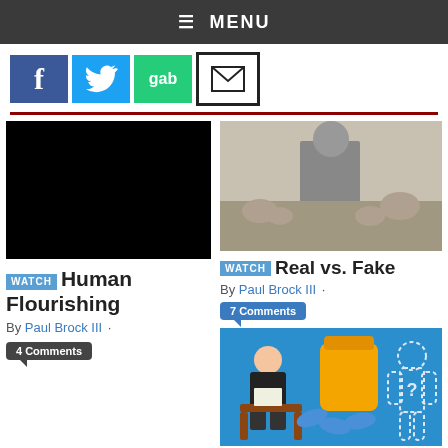≡ MENU
[Figure (screenshot): Social media icons: Facebook (blue), Twitter (blue bird), Gab (green), Email (envelope)]
[Figure (photo): Black video thumbnail]
WATCH Human Flourishing
By Paul Brock III ·
4 Comments
[Figure (photo): Black and white historical image of a monk or priest preaching to a group of seated figures]
WATCH Real vs. Fake
By Paul Brock III ·
7 Comments
[Figure (illustration): Colorful illustration on blue background showing a woman sitting in a chair reading, a large pill bottle spilling capsules, and a human body outline with a question mark]
WATCH Soul
[Figure (infographic): Donate button overlay]